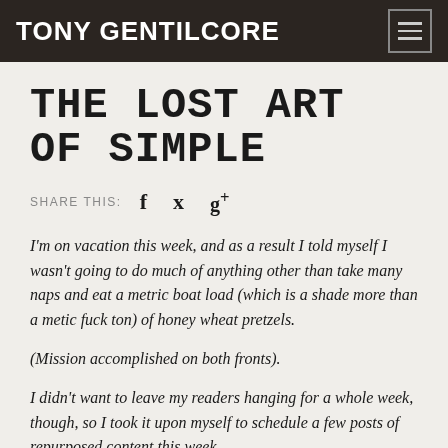TONY GENTILCORE
THE LOST ART OF SIMPLE
SHARE THIS: f  y  g+
I'm on vacation this week, and as a result I told myself I wasn't going to do much of anything other than take many naps and eat a metric boat load (which is a shade more than a metic fuck ton) of honey wheat pretzels.
(Mission accomplished on both fronts).
I didn't want to leave my readers hanging for a whole week, though, so I took it upon myself to schedule a few posts of repurposed content this week.
If you're new to the site, it'll be a new article.